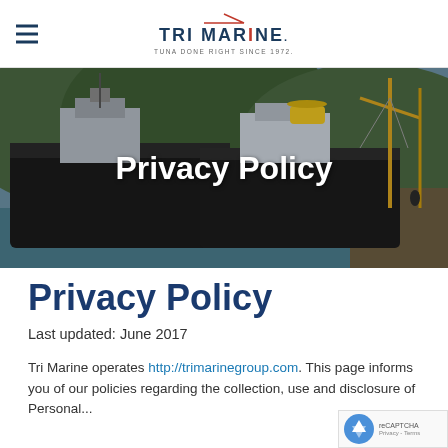Tri Marine — TRI MARINE. TUNA DONE RIGHT SINCE 1972.
[Figure (photo): Aerial/dock-level photograph of large tuna fishing vessels moored at a port, with cranes and industrial equipment visible. Two dark-hulled ships dominate the scene.]
Privacy Policy
Last updated: June 2017
Tri Marine operates http://trimarinegroup.com This page informs you of our policies regarding the collection, use and disclosure of Personal...